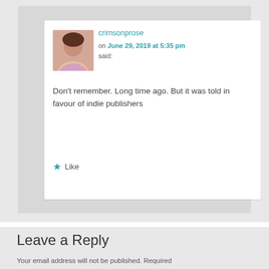crimsonprose on June 29, 2019 at 5:35 pm said: Don't remember. Long time ago. But it was told in favour of indie publishers
Like
Leave a Reply
Your email address will not be published. Required